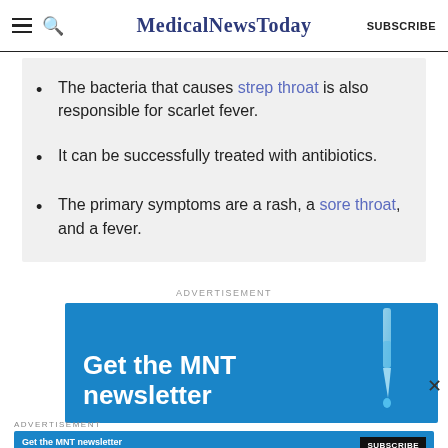MedicalNewsToday
The bacteria that causes strep throat is also responsible for scarlet fever.
It can be successfully treated with antibiotics.
The primary symptoms are a rash, a sore throat, and a fever.
ADVERTISEMENT
[Figure (photo): MNT newsletter advertisement banner with blue background, pipette, and bold white text reading 'Get the MNT newsletter']
ADVERTISEMENT
[Figure (infographic): Smaller MNT newsletter ad bar with 'Get the MNT newsletter', subscribe button]